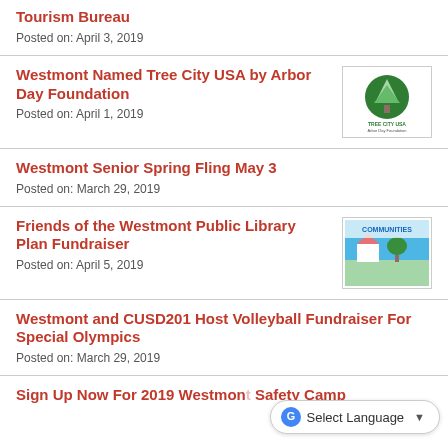Tourism Bureau
Posted on: April 3, 2019
Westmont Named Tree City USA by Arbor Day Foundation
Posted on: April 1, 2019
[Figure (logo): Tree City USA logo by Arbor Day Foundation]
Westmont Senior Spring Fling May 3
Posted on: March 29, 2019
Friends of the Westmont Public Library Plan Fundraiser
Posted on: April 5, 2019
[Figure (illustration): Communities fundraiser event image]
Westmont and CUSD201 Host Volleyball Fundraiser For Special Olympics
Posted on: March 29, 2019
Sign Up Now For 2019 Westmont Safety Camp